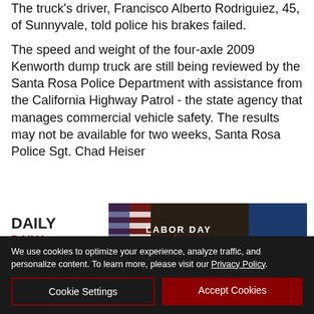The truck's driver, Francisco Alberto Rodriguiez, 45, of Sunnyvale, told police his brakes failed.
The speed and weight of the four-axle 2009 Kenworth dump truck are still being reviewed by the Santa Rosa Police Department with assistance from the California Highway Patrol - the state agency that manages commercial vehicle safety. The results may not be available for two weeks, Santa Rosa Police Sgt. Chad Heiser
[Figure (infographic): La-Z-Boy Labor Day Sale advertisement banner: UP TO 20% OFF STOREWIDE PLUS 0% INTEREST UNTIL JANUARY 2027. Click for details.]
DAILY
DAILY
We use cookies to optimize your experience, analyze traffic, and personalize content. To learn more, please visit our Privacy Policy.
Cookie Settings
Accept Cookies